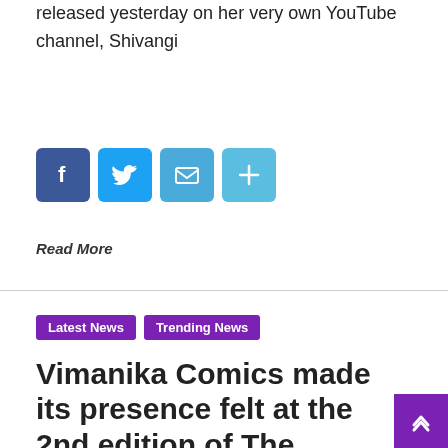released yesterday on her very own YouTube channel, Shivangi
[Figure (infographic): Social share buttons: Facebook (blue), Twitter (light blue), Email (teal), Share/Plus (light blue)]
Read More
Latest News
Trending News
Vimanika Comics made its presence felt at the 2nd edition of The License India Expo 2019 Mumbai